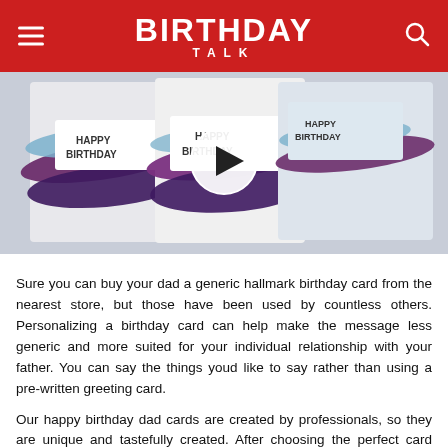BIRTHDAY TALK
[Figure (photo): Video thumbnail showing handmade happy birthday cards with purple and blue brushstroke designs, with a play button overlay in the center.]
Sure you can buy your dad a generic hallmark birthday card from the nearest store, but those have been used by countless others. Personalizing a birthday card can help make the message less generic and more suited for your individual relationship with your father. You can say the things youd like to say rather than using a pre-written greeting card.
Our happy birthday dad cards are created by professionals, so they are unique and tastefully created. After choosing the perfect card template we give you access to a free editor that allows you to tailor the card to suit your needs. You dont have to have any previous experience with computer coding or design as its that easy to use! The online editor allows